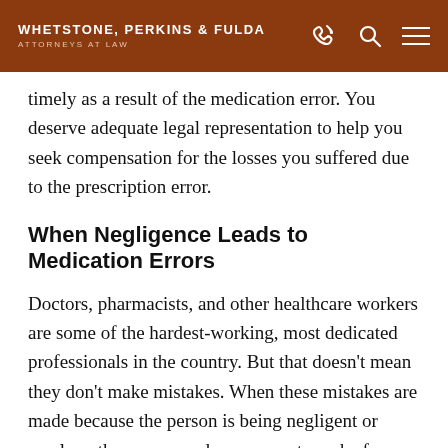WHETSTONE, PERKINS & FULDA ATTORNEYS AT LAW
timely as a result of the medication error. You deserve adequate legal representation to help you seek compensation for the losses you suffered due to the prescription error.
When Negligence Leads to Medication Errors
Doctors, pharmacists, and other healthcare workers are some of the hardest-working, most dedicated professionals in the country. But that doesn’t mean they don’t make mistakes. When these mistakes are made because the person is being negligent or careless, then you may have a case to make for